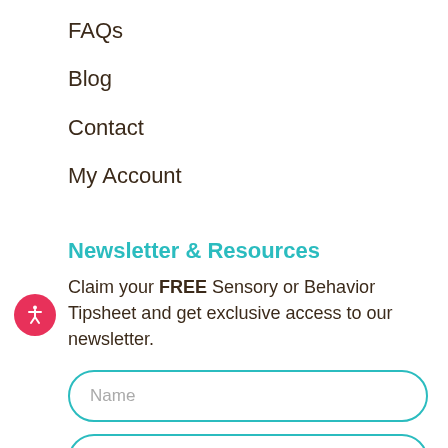FAQs
Blog
Contact
My Account
Newsletter & Resources
Claim your FREE Sensory or Behavior Tipsheet and get exclusive access to our newsletter.
Name
Email
Get Access